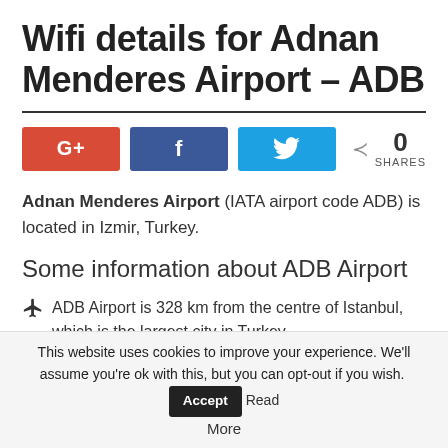Wifi details for Adnan Menderes Airport – ADB
[Figure (infographic): Social sharing buttons: Google+, Facebook, Twitter, and a share count showing 0 SHARES]
Adnan Menderes Airport (IATA airport code ADB) is located in Izmir, Turkey.
Some information about ADB Airport
ADB Airport is 328 km from the centre of Istanbul, which is the largest city in Turkey.
ADB geographical coordinates are 38° 25' 20.0 N 27° 9' 18.0 E
This website uses cookies to improve your experience. We'll assume you're ok with this, but you can opt-out if you wish. Accept Read More